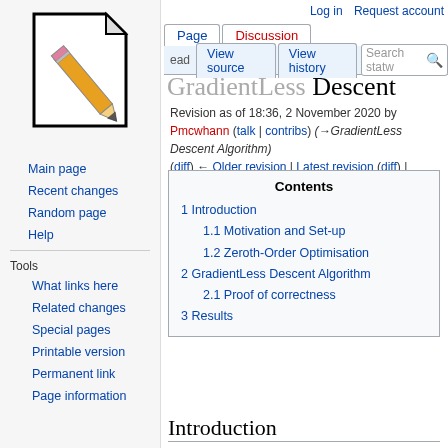Log in  Request account
[Figure (logo): Wikipedia-style pencil and paper logo]
Main page
Recent changes
Random page
Help
Tools
What links here
Related changes
Special pages
Printable version
Permanent link
Page information
GradientLess Descent
Revision as of 18:36, 2 November 2020 by Pmcwhann (talk | contribs) (→GradientLess Descent Algorithm)
(diff) ← Older revision | Latest revision (diff) | Newer revision → (diff)
| Contents |
| --- |
| 1  Introduction |
| 1.1  Motivation and Set-up |
| 1.2  Zeroth-Order Optimisation |
| 2  GradientLess Descent Algorithm |
| 2.1  Proof of correctness |
| 3  Results |
Introduction